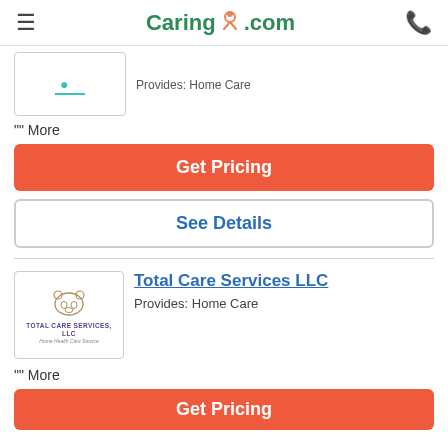Caring.com
[Figure (logo): Partial listing image with teal icon, partially visible]
Provides: Home Care (partially visible)
"" More
Get Pricing
See Details
[Figure (logo): Total Care Services LLC logo with bear face icon, company name in purple]
Total Care Services LLC
Provides: Home Care
"" More
Get Pricing